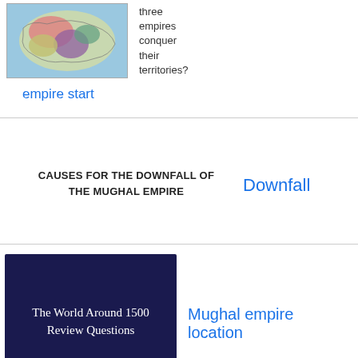[Figure (map): Colorful map showing regions of three empires]
three empires conquer their territories?
empire start
CAUSES FOR THE DOWNFALL OF THE MUGHAL EMPIRE
Downfall
[Figure (screenshot): Dark blue slide thumbnail reading 'The World Around 1500 Review Questions']
Mughal empire location